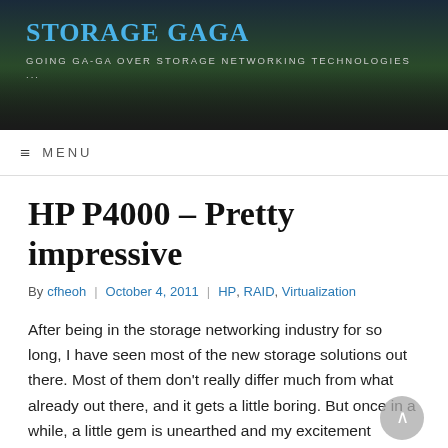Storage Gaga — Going ga-ga over storage networking technologies ...
MENU
HP P4000 – Pretty impressive
By cfheoh | October 4, 2011 | HP, RAID, Virtualization
After being in the storage networking industry for so long, I have seen most of the new storage solutions out there. Most of them don't really differ much from what already out there, and it gets a little boring. But once in a while, a little gem is unearthed and my excitement bubbles up again.